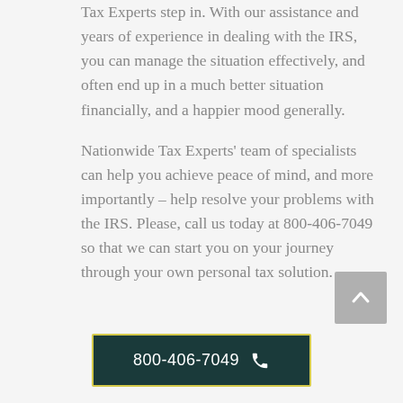Tax Experts step in. With our assistance and years of experience in dealing with the IRS, you can manage the situation effectively, and often end up in a much better situation financially, and a happier mood generally.
Nationwide Tax Experts' team of specialists can help you achieve peace of mind, and more importantly – help resolve your problems with the IRS. Please, call us today at 800-406-7049 so that we can start you on your journey through your own personal tax solution.
[Figure (other): Back to top button — grey square with upward chevron arrow]
[Figure (other): Call button with dark teal background, yellow border, phone icon, and number 800-406-7049]